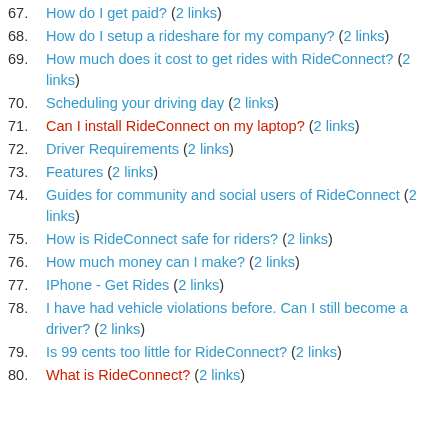67. How do I get paid? (2 links)
68. How do I setup a rideshare for my company? (2 links)
69. How much does it cost to get rides with RideConnect? (2 links)
70. Scheduling your driving day (2 links)
71. Can I install RideConnect on my laptop? (2 links)
72. Driver Requirements (2 links)
73. Features (2 links)
74. Guides for community and social users of RideConnect (2 links)
75. How is RideConnect safe for riders? (2 links)
76. How much money can I make? (2 links)
77. IPhone - Get Rides (2 links)
78. I have had vehicle violations before. Can I still become a driver? (2 links)
79. Is 99 cents too little for RideConnect? (2 links)
80. What is RideConnect? (2 links)